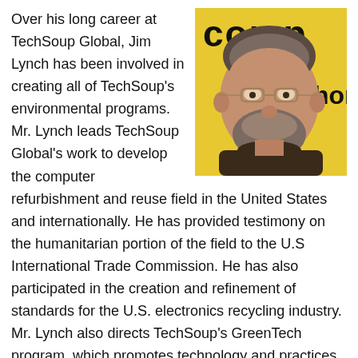[Figure (photo): Headshot of Jim Lynch, a bearded middle-aged man wearing glasses and a dark turtleneck, with a yellow sign partially visible behind him showing letters 'comp' and 'hor'.]
Over his long career at TechSoup Global, Jim Lynch has been involved in creating all of TechSoup’s environmental programs. Mr. Lynch leads TechSoup Global’s work to develop the computer refurbishment and reuse field in the United States and internationally. He has provided testimony on the humanitarian portion of the field to the U.S International Trade Commission. He has also participated in the creation and refinement of standards for the U.S. electronics recycling industry. Mr. Lynch also directs TechSoup’s GreenTech program, which promotes technology and practices that reduce the IT environmental impact and carbon footprint of nonprofits, NGOs, and libraries worldwide.